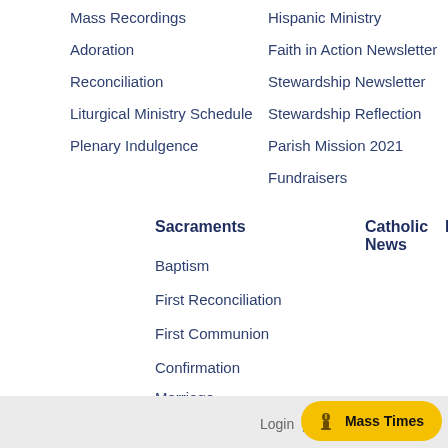Mass Recordings
Adoration
Reconciliation
Liturgical Ministry Schedule
Plenary Indulgence
Hispanic Ministry
Faith in Action Newsletter
Stewardship Newsletter
Stewardship Reflection
Parish Mission 2021
Fundraisers
Sacraments
Catholic News
Baptism
First Reconciliation
First Communion
Confirmation
Marriage
Holy Orders
Anointing of the Sick
Login | pu...
Mass Times